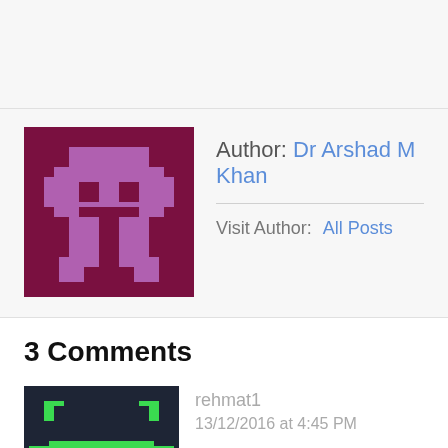[Figure (illustration): Pixelated avatar icon for author Dr Arshad M Khan, purple/maroon colors]
Author: Dr Arshad M Khan
Visit Author:  All Posts
3 Comments
[Figure (illustration): Pixelated avatar icon for commenter rehmat1, dark blue/green colors]
rehmat1
13/12/2016 at 4:45 PM
There were no 19 hijackers from Saudi Arabia, or Afghanistan or Pakistan or Iran. CIA director George Tenet aka David Cohen admitted after his